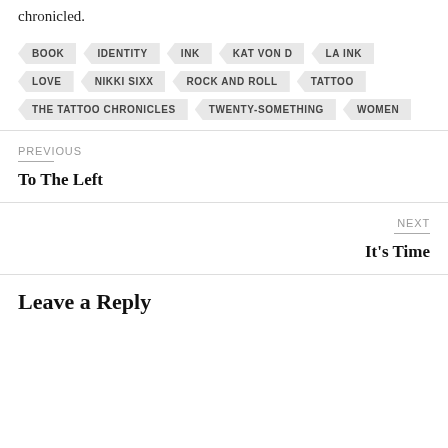chronicled.
BOOK
IDENTITY
INK
KAT VON D
LA INK
LOVE
NIKKI SIXX
ROCK AND ROLL
TATTOO
THE TATTOO CHRONICLES
TWENTY-SOMETHING
WOMEN
PREVIOUS
To The Left
NEXT
It's Time
Leave a Reply